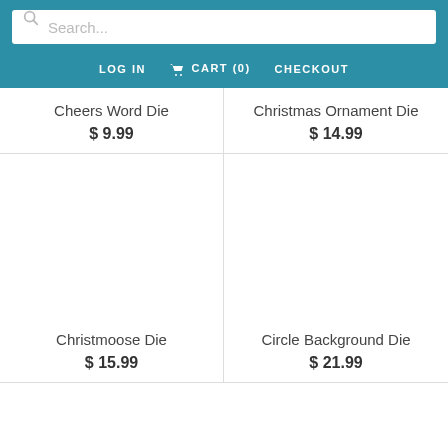Search... LOG IN  CART (0)  CHECKOUT
Cheers Word Die
$ 9.99
Christmas Ornament Die
$ 14.99
[Figure (other): Product image area for Christmoose Die (blank/white)]
[Figure (other): Product image area for Circle Background Die (blank/white)]
Christmoose Die
$ 15.99
Circle Background Die
$ 21.99